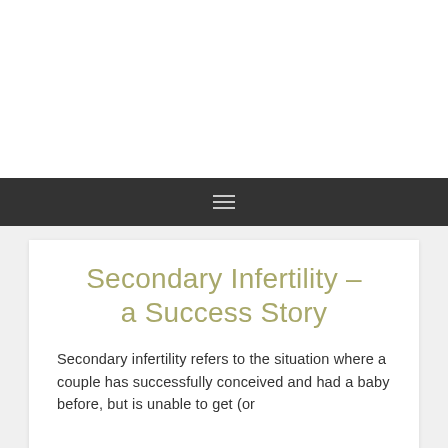Secondary Infertility – a Success Story
Secondary infertility refers to the situation where a couple has successfully conceived and had a baby before, but is unable to get (or